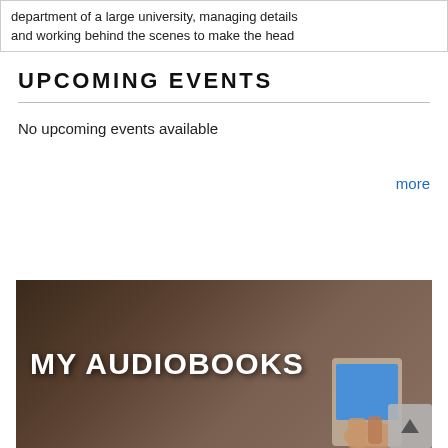department of a large university, managing details and working behind the scenes to make the head...
UPCOMING EVENTS
No upcoming events available
more
[Figure (photo): Promotional banner image with text 'MY AUDIOBOOKS' in white bold letters on a dark brown background, with a person holding a tablet displaying a blue screen in the lower right.]